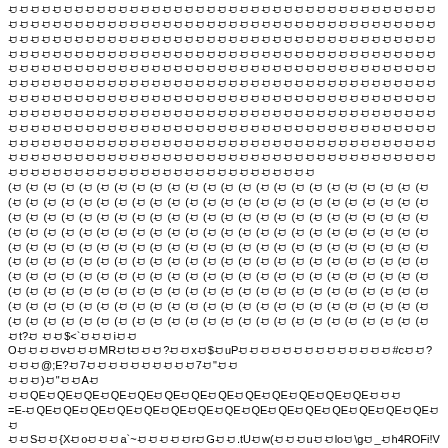ꀀꀀꀀꀀꀀꀀꀀꀀꀀꀀꀀꀀꀀꀀꀀꀀꀀꀀꀀꀀꀀꀀꀀꀀꀀꀀꀀꀀꀀꀀꀀꀀꀀꀀꀀꀀꀀꀀꀀꀀꀀꀀꀀꀀꀀꀀꀀꀀꀀꀀꀀꀀꀀꀀꀀꀀꀀꀀꀀꀀꀀꀀꀀꀀꀀꀀꀀꀀꀀꀀꀀꀀꀀꀀꀀꀀꀀꀀꀀꀀꀀꀀꀀꀀꀀꀀꀀꀀꀀꀀꀀꀀꀀꀀꀀꀀꀀꀀꀀꀀꀀꀀꀀꀀꀀꀀꀀꀀꀀꀀꀀꀀꀀꀀꀀꀀꀀꀀꀀꀀꀀꀀꀀꀀꀀꀀꀀꀀꀀꀀꀀꀀꀀꀀꀀꀀꀀꀀꀀꀀꀀꀀꀀꀀꀀꀀꀀꀀꀀꀀꀀꀀꀀꀀꀀꀀꀀꀀꀀꀀꀀꀀꀀꀀꀀꀀꀀꀀꀀꀀꀀꀀꀀꀀꀀꀀꀀꀀꀀꀀꀀꀀꀀꀀꀀꀀꀀꀀꀀꀀꀀꀀꀀꀀꀀꀀꀀꀀꀀꀀꀀꀀꀀꀀꀀꀀꀀꀀꀀꀀꀀꀀꀀꀀꀀꀀꀀꀀꀀꀀꀀꀀꀀꀀꀀꀀꀀꀀꀀꀀꀀꀀꀀꀀꀀꀀꀀꀀꀀꀀꀀꀀꀀꀀꀀꀀꀀꀀꀀꀀꀀꀀꀀꀀꀀꀀꀀꀀꀀꀀꀀꀀꀀꀀꀀꀀꀀꀀꀀꀀꀀꀀꀀꀀꀀꀀꀀꀀꀀꀀꀀꀀꀀꀀꀀꀀꀀꀀꀀꀀꀀꀀꀀꀀꀀꀀꀀꀀꀀꀀꀀꀀꀀꀀꀀꀀꀀꀀꀀꀀꀀꀀꀀꀀꀀꀀꀀꀀꀀꀀꀀꀀꀀꀀꀀꀀꀀꀀꀀꀀꀀꀀꀀꀀꀀꀀꀀꀀꀀꀀꀀꀀꀀꀀꀀꀀꀀꀀꀀꀀꀀꀀꀀꀀꀀꀀꀀꀀꀀꀀꀀꀀꀀꀀꀀꀀꀀꀀꀀꀀꀀꀀꀀꀀꀀꀀꀀꀀꀀꀀꀀꀀꀀꀀꀀꀀꀀꀀꀀꀀꀀꀀꀀꀀꀀꀀꀀꀀꀀꀀꀀꀀꀀꀀꀀꀀꀀꀀꀀꀀꀀꀀꀀꀀꀀꀀꀀꀀꀀꀀꀀꀀꀀꀀꀀꀀꀀꀀꀀꀀꀀꀀꀀꀀꀀꀀꀀꀀꀀꀀꀀꀀꀀꀀꀀꀀꀀꀀꀀꀀꀀꀀꀀꀀꀀꀀꀀ